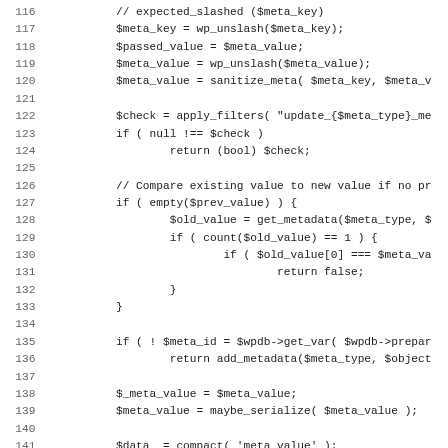[Figure (other): Source code listing (PHP) showing lines 116-147 of a WordPress metadata update function]